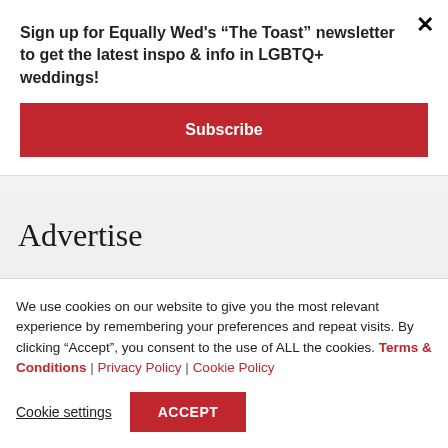Sign up for Equally Wed's “The Toast” newsletter to get the latest inspo & info in LGBTQ+ weddings!
Subscribe
×
Advertise
Equally Wed is privately owned and operated. We exist solely through the partnership with LGBTQ+ inclusive businesses, venues and vendors who
We use cookies on our website to give you the most relevant experience by remembering your preferences and repeat visits. By clicking “Accept”, you consent to the use of ALL the cookies. Terms & Conditions | Privacy Policy | Cookie Policy
Cookie settings
ACCEPT